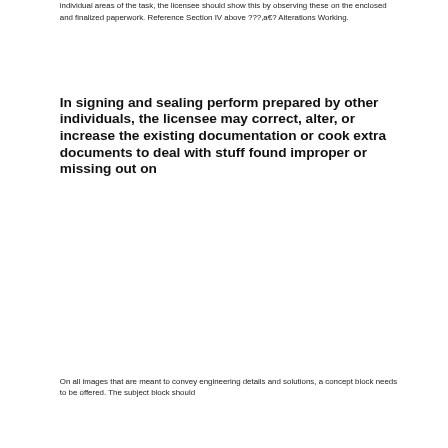individual areas of the task, the licensee should show this by observing these on the enclosed and finalized paperwork. Reference Section IV above ???,a€? Alterations Working.
In signing and sealing perform prepared by other individuals, the licensee may correct, alter, or increase the existing documentation or cook extra documents to deal with stuff found improper or missing out on
On all images that are meant to convey engineering details and solutions, a concept block needs to be offered. The subject block should